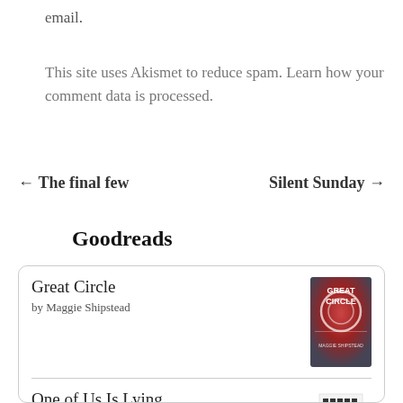email.
This site uses Akismet to reduce spam. Learn how your comment data is processed.
← The final few    Silent Sunday →
Goodreads
[Figure (other): Goodreads widget showing two books: 'Great Circle' by Maggie Shipstead with book cover, and 'One of Us Is Lying' by Karen M. McManus with book cover]